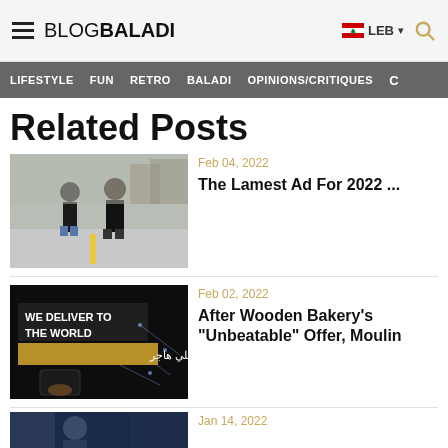BLOGBALADI | LEB
LIFESTYLE  FUN  RETRO  BALADI  OPINIONS/CRITIQUES
Related Posts
[Figure (photo): Two people dancing or playing on a street with a yellow road marking visible]
Feb 04, 2022
The Lamest Ad For 2022 ...
[Figure (photo): Dark promotional image with text 'WE DELIVER TO THE WORLD' and Arabic text, showing a food delivery concept with a phone and burger]
Feb 02, 2022
After Wooden Bakery's "Unbeatable" Offer, Moulin
[Figure (photo): Partial thumbnail of a person, blue toned image]
Jan 14, 2022